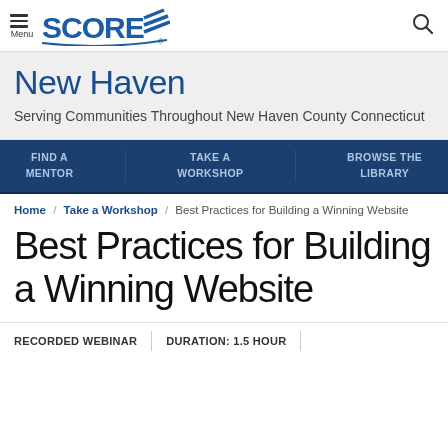Menu | SCORE | [search icon]
New Haven
Serving Communities Throughout New Haven County Connecticut
FIND A MENTOR | TAKE A WORKSHOP | BROWSE THE LIBRARY
Home / Take a Workshop / Best Practices for Building a Winning Website
Best Practices for Building a Winning Website
RECORDED WEBINAR | DURATION: 1.5 Hour |